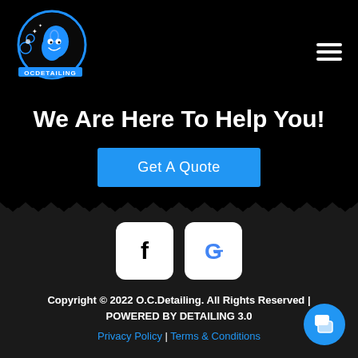[Figure (logo): OC Detailing logo — cartoon water drop character in blue circle with text OCDETAILING]
[Figure (illustration): Hamburger menu icon (three horizontal white lines)]
We Are Here To Help You!
Get A Quote
[Figure (illustration): Zigzag wave divider separating black top section from dark gray bottom section]
[Figure (illustration): Facebook icon (f) in white rounded square]
[Figure (illustration): Google icon (G) in white rounded square]
Copyright © 2022 O.C.Detailing. All Rights Reserved | POWERED BY DETAILING 3.0
Privacy Policy | Terms & Conditions
[Figure (illustration): Blue circular chat button in bottom right corner]